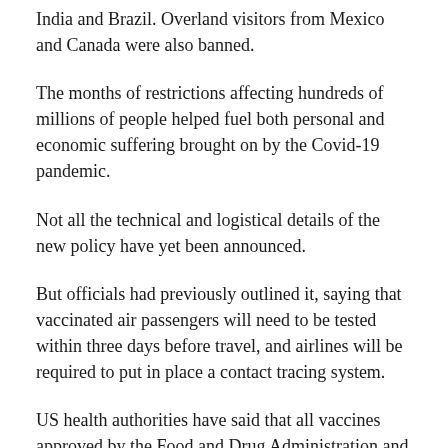India and Brazil. Overland visitors from Mexico and Canada were also banned.
The months of restrictions affecting hundreds of millions of people helped fuel both personal and economic suffering brought on by the Covid-19 pandemic.
Not all the technical and logistical details of the new policy have yet been announced.
But officials had previously outlined it, saying that vaccinated air passengers will need to be tested within three days before travel, and airlines will be required to put in place a contact tracing system.
US health authorities have said that all vaccines approved by the Food and Drug Administration and the World Health Organization would be accepted for entry by air.